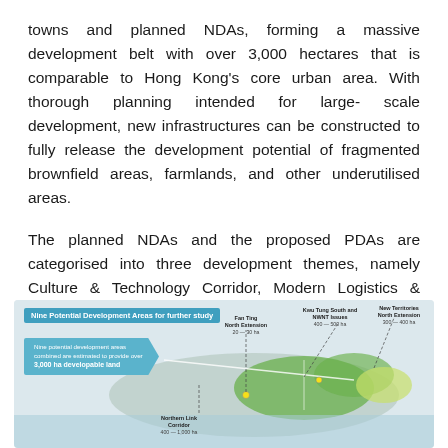towns and planned NDAs, forming a massive development belt with over 3,000 hectares that is comparable to Hong Kong's core urban area. With thorough planning intended for large-scale development, new infrastructures can be constructed to fully release the development potential of fragmented brownfield areas, farmlands, and other underutilised areas.
The planned NDAs and the proposed PDAs are categorised into three development themes, namely Culture & Technology Corridor, Modern Logistics & Business Circle, and Living & Recreation Space, to complement the planning intentions of the ongoing projects implemented by the Government.
[Figure (map): Map titled 'Nine Potential Development Areas for further study' showing locations in Hong Kong's New Territories with annotations including Northern Link Corridor (400-1,000 ha), Fan Ting North Extension (20-30 ha), Kwu Tung South and NWNT Issues (400-500 ha), New Territories North (300-400 ha). Info box states: Nine potential development areas combined are estimated to provide over 3,000 ha developable land.]